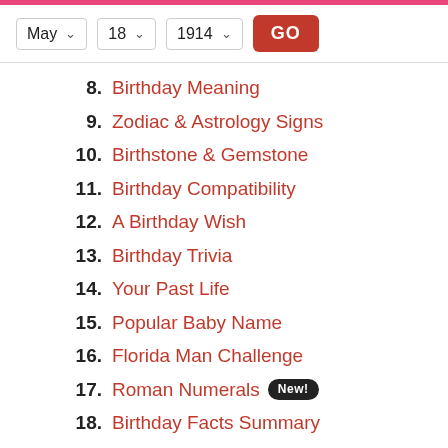May 18 1914 GO
8. Birthday Meaning
9. Zodiac & Astrology Signs
10. Birthstone & Gemstone
11. Birthday Compatibility
12. A Birthday Wish
13. Birthday Trivia
14. Your Past Life
15. Popular Baby Name
16. Florida Man Challenge
17. Roman Numerals New!
18. Birthday Facts Summary
19. Share This Ninja Page
What day was my birthday May 18, 1914?